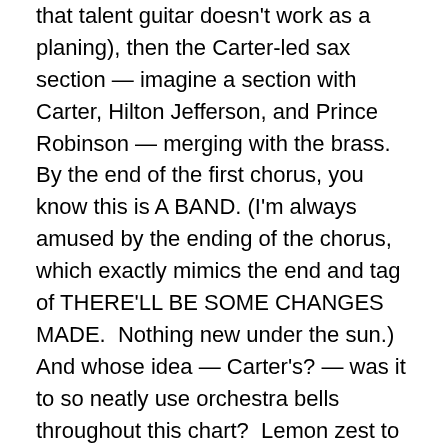that talent guitar doesn't work as a planing), then the Carter-led sax section — imagine a section with Carter, Hilton Jefferson, and Prince Robinson — merging with the brass.  By the end of the first chorus, you know this is A BAND. (I'm always amused by the ending of the chorus, which exactly mimics the end and tag of THERE'LL BE SOME CHANGES MADE.  Nothing new under the sun.)  And whose idea — Carter's? — was it to so neatly use orchestra bells throughout this chart?  Lemon zest to the ear.
But then there's Rex Stewart's expert and hilarious solo — he wants to let you know he is here, immediately.  I always think of him as one of those bold trumpeters who, as the tempo speeded up, he played even more notes to the bar, rather than taking it easy and playing whole and half notes.  In this chorus, he seems like the most insistent